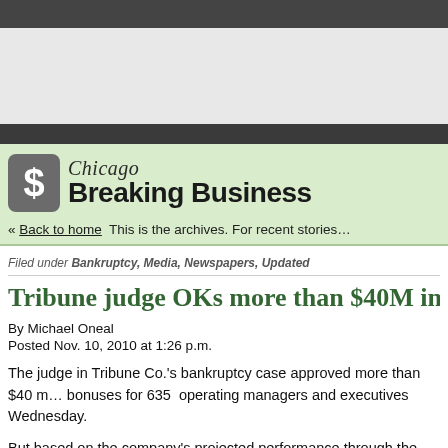Chicago Breaking Business
« Back to home  This is the archives. For recent stories…
Filed under Bankruptcy, Media, Newspapers, Updated
Tribune judge OKs more than $40M in b…
By Michael Oneal
Posted Nov. 10, 2010 at 1:26 p.m.
The judge in Tribune Co.'s bankruptcy case approved more than $40 m… bonuses for 635 operating managers and executives Wednesday.
But based on the company's projected performance through the end of…